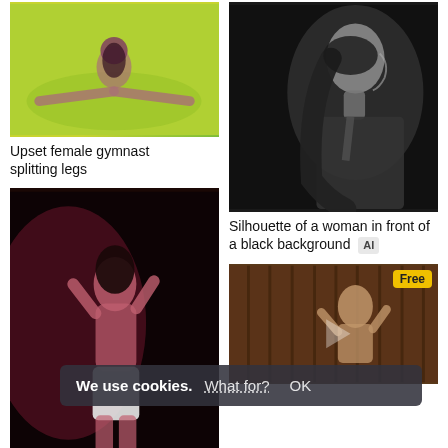[Figure (photo): Female gymnast doing splits on yellow-green background with colorful light effects]
Upset female gymnast splitting legs
[Figure (photo): Black and white portrait of a woman looking up, dark background]
[Figure (photo): Close-up of a young woman posing in white shorts against dark background, dramatic red lighting]
Close-up of naked young
Silhouette of a woman in front of a black background AI
[Figure (photo): Woman posing in front of wooden wall background, Free badge visible]
We use cookies. What for? OK